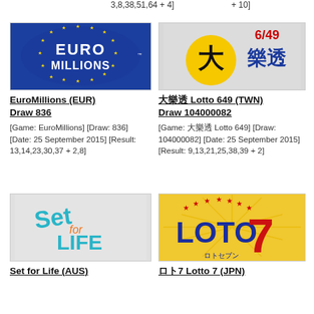3,8,38,51,64 + 4]
+ 10]
[Figure (logo): EuroMillions lottery logo — blue circular badge with stars and stylized text 'EURO MILLIONS']
[Figure (logo): Taiwan 大樂透 Lotto 649 logo — yellow circle with Chinese character and '6/49 樂透' text in red and blue]
EuroMillions (EUR) Draw 836
大樂透 Lotto 649 (TWN) Draw 104000082
[Game: EuroMillions] [Draw: 836] [Date: 25 September 2015] [Result: 13,14,23,30,37 + 2,8]
[Game: 大樂透 Lotto 649] [Draw: 104000082] [Date: 25 September 2015] [Result: 9,13,21,25,38,39 + 2]
[Figure (logo): Set for Life (AUS) lottery logo — teal and orange stylized 'Set for LIFE' text]
[Figure (logo): ロト7 Loto 7 (JPN) lottery logo — bold blue LOTO text with large red '7' and stars, yellow sunburst background]
Set for Life (AUS)
ロト7 Lotto 7 (JPN)